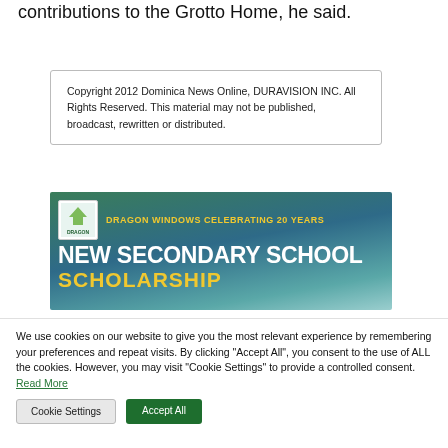contributions to the Grotto Home, he said.
Copyright 2012 Dominica News Online, DURAVISION INC. All Rights Reserved. This material may not be published, broadcast, rewritten or distributed.
[Figure (illustration): Dragon Windows advertisement banner: Dragon logo on left, text 'DRAGON WINDOWS CELEBRATING 20 YEARS' in yellow, 'NEW SECONDARY SCHOOL' in white large bold text, 'SCHOLARSHIP' in yellow large bold text, background shows building/windows.]
We use cookies on our website to give you the most relevant experience by remembering your preferences and repeat visits. By clicking "Accept All", you consent to the use of ALL the cookies. However, you may visit "Cookie Settings" to provide a controlled consent. Read More
Cookie Settings
Accept All